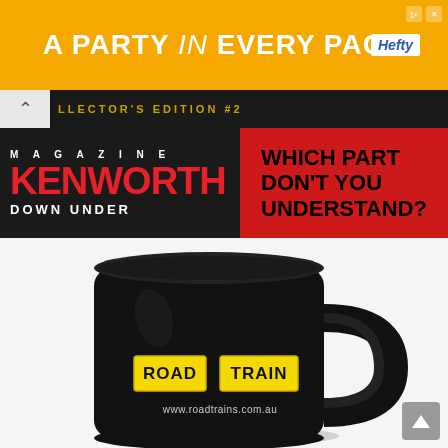[Figure (illustration): Hefty brand advertisement banner with orange/yellow background reading 'A PARTY in EVERY PACK' with Hefty logo on the right]
[Figure (illustration): Dark navigation bar with back chevron and text 'LLECTOR'S EDITION #2']
[Figure (illustration): Kenworth Down Under Magazine header on dark background left panel, red right panel with text 'WHICH PART DON'T YOU UNDERSTAND?']
[Figure (photo): Black coffee mug with yellow 'ROAD TRAIN' sign stickers and website www.roadtrains.com.au on a white/grey background]